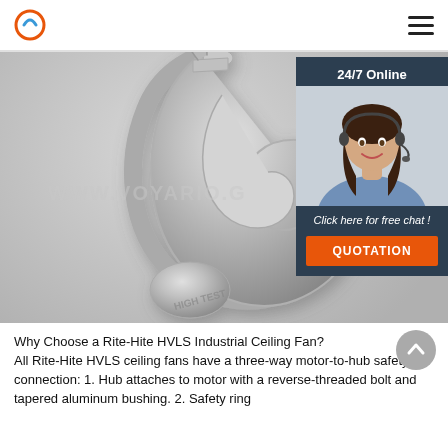Logo and navigation hamburger menu
[Figure (photo): Close-up photo of a galvanized steel lifting hook (high test safety hook) with a watermark 'WWW.VOYARIO.G' overlaid. The hook is metal, silver-gray, with a latch and stamped text 'HIGH TEST' on the body.]
[Figure (photo): Advertisement panel on the right side: '24/7 Online' header, photo of a smiling woman with a headset, 'Click here for free chat!' text, and an orange 'QUOTATION' button.]
Why Choose a Rite-Hite HVLS Industrial Ceiling Fan? All Rite-Hite HVLS ceiling fans have a three-way motor-to-hub safety connection: 1. Hub attaches to motor with a reverse-threaded bolt and tapered aluminum bushing. 2. Safety ring